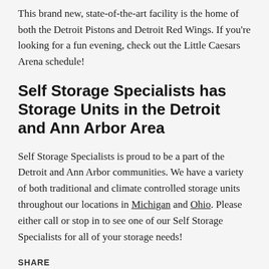This brand new, state-of-the-art facility is the home of both the Detroit Pistons and Detroit Red Wings. If you're looking for a fun evening, check out the Little Caesars Arena schedule!
Self Storage Specialists has Storage Units in the Detroit and Ann Arbor Area
Self Storage Specialists is proud to be a part of the Detroit and Ann Arbor communities. We have a variety of both traditional and climate controlled storage units throughout our locations in Michigan and Ohio. Please either call or stop in to see one of our Self Storage Specialists for all of your storage needs!
SHARE